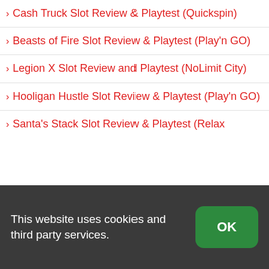Cash Truck Slot Review & Playtest (Quickspin)
Beasts of Fire Slot Review & Playtest (Play'n GO)
Legion X Slot Review and Playtest (NoLimit City)
Hooligan Hustle Slot Review & Playtest (Play'n GO)
Santa's Stack Slot Review & Playtest (Relax
This website uses cookies and third party services.